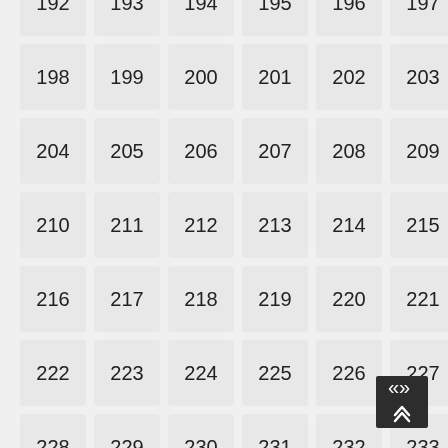| 192 | 193 | 194 | 195 | 196 | 197 |
| 198 | 199 | 200 | 201 | 202 | 203 |
| 204 | 205 | 206 | 207 | 208 | 209 |
| 210 | 211 | 212 | 213 | 214 | 215 |
| 216 | 217 | 218 | 219 | 220 | 221 |
| 222 | 223 | 224 | 225 | 226 | 227 |
| 228 | 229 | 230 | 231 | 232 | 233 |
| 234 | 235 | 236 | 237 | 238 | 239 |
| 240 | 241 | 242 | 243 | 244 | 245 |
| 246 | 247 | 248 | 249 | 250 | 251 |